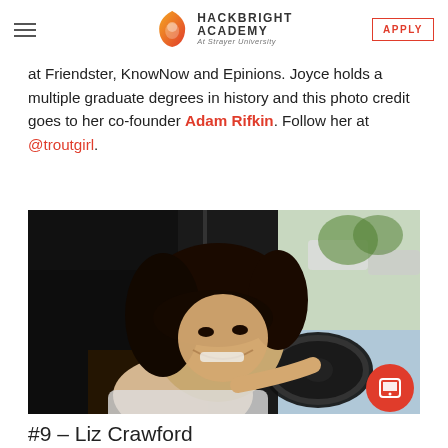Hackbright Academy At Strayer University | APPLY
at Friendster, KnowNow and Epinions. Joyce holds a multiple graduate degrees in history and this photo credit goes to her co-founder Adam Rifkin. Follow her at @troutgirl.
[Figure (photo): A smiling woman sitting in the driver's seat of a car, holding the steering wheel, photographed from the passenger side.]
#9 – Liz Crawford